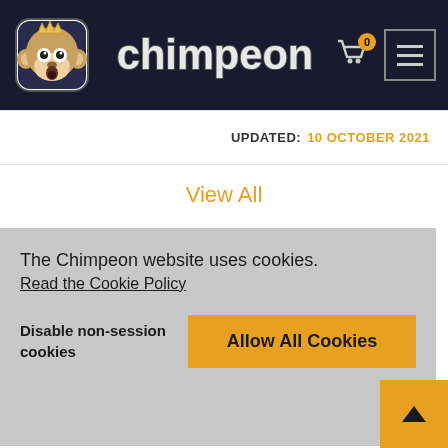[Figure (logo): Chimpeon website header with monkey logo and wordmark on dark navy background, with cart icon showing 0 items and hamburger menu button]
UPDATED: 10 OCTOBER 2021
View All
The Chimpeon website uses cookies.
Read the Cookie Policy
Disable non-session cookies
Allow All Cookies